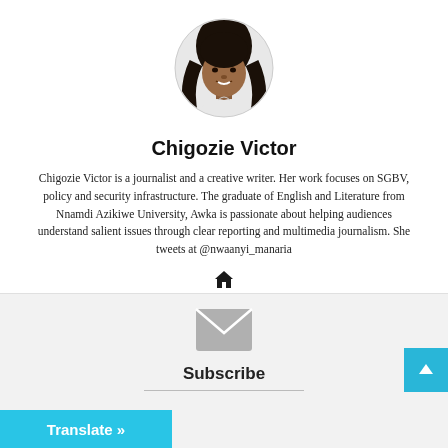[Figure (illustration): Circular portrait illustration of Chigozie Victor, a woman with dark hair wearing a white top, drawn in a sketch style.]
Chigozie Victor
Chigozie Victor is a journalist and a creative writer. Her work focuses on SGBV, policy and security infrastructure. The graduate of English and Literature from Nnamdi Azikiwe University, Awka is passionate about helping audiences understand salient issues through clear reporting and multimedia journalism. She tweets at @nwaanyi_manaria
[Figure (other): Home icon (house symbol)]
[Figure (other): Envelope/email icon in grey]
Subscribe